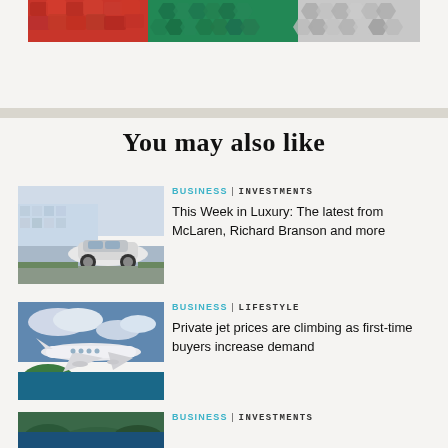[Figure (photo): Decorative top banner image showing colorful textured patterns]
You may also like
[Figure (photo): Silver McLaren sports car parked in front of a modern glass building near water]
BUSINESS | INVESTMENTS
This Week in Luxury: The latest from McLaren, Richard Branson and more
[Figure (photo): Private jet flying over tropical green islands and ocean]
BUSINESS | LIFESTYLE
Private jet prices are climbing as first-time buyers increase demand
[Figure (photo): Partial view of third article thumbnail]
BUSINESS | INVESTMENTS